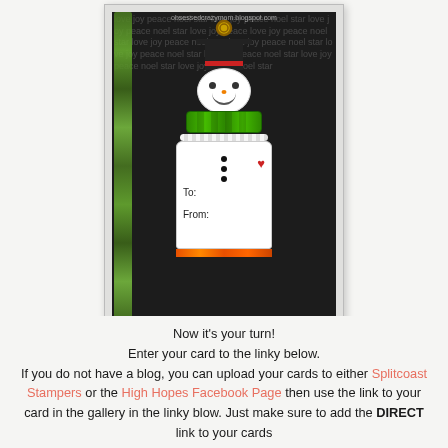[Figure (photo): A handmade Christmas gift tag featuring a snowman character with a black top hat with red band, green scarf, white body with buttons and a heart, holding a tag that says 'To:' and 'From:'. The background is dark/black with white snowflake/text pattern. Green tinsel is visible on the left side. There is a ring at the top for hanging.]
Now it's your turn!
Enter your card to the linky below.
If you do not have a blog, you can upload your cards to either Splitcoast Stampers or the High Hopes Facebook Page then use the link to your card in the gallery in the linky blow. Just make sure to add the DIRECT link to your cards